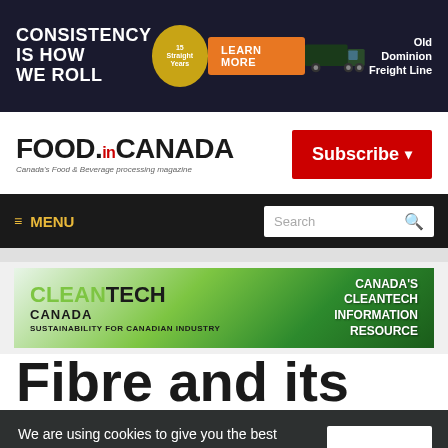[Figure (screenshot): Banner advertisement: 'Consistency is How We Roll' with orange Learn More button, truck image, and Old Dominion Freight Line logo]
[Figure (logo): Food in Canada magazine logo with red Subscribe button]
≡ MENU   Search
[Figure (screenshot): Cleantech Canada banner: sustainability for Canadian industry, Canada's cleantech information resource]
Fibre and its
We are using cookies to give you the best experience on our website. By continuing to use the site, you agree to the use of cookies. To find out more, read our privacy policy.